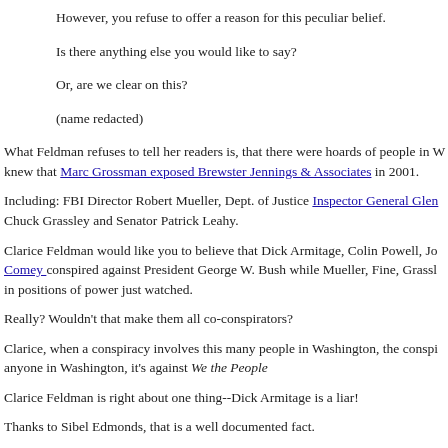However, you refuse to offer a reason for this peculiar belief.
Is there anything else you would like to say?
Or, are we clear on this?
(name redacted)
What Feldman refuses to tell her readers is, that there were hoards of people in W knew that Marc Grossman exposed Brewster Jennings & Associates in 2001.
Including: FBI Director Robert Mueller, Dept. of Justice Inspector General Glen Chuck Grassley and Senator Patrick Leahy.
Clarice Feldman would like you to believe that Dick Armitage, Colin Powell, Jo Comey conspired against President George W. Bush while Mueller, Fine, Grassl in positions of power just watched.
Really? Wouldn't that make them all co-conspirators?
Clarice, when a conspiracy involves this many people in Washington, the conspi anyone in Washington, it's against We the People
Clarice Feldman is right about one thing--Dick Armitage is a liar!
Thanks to Sibel Edmonds, that is a well documented fact.